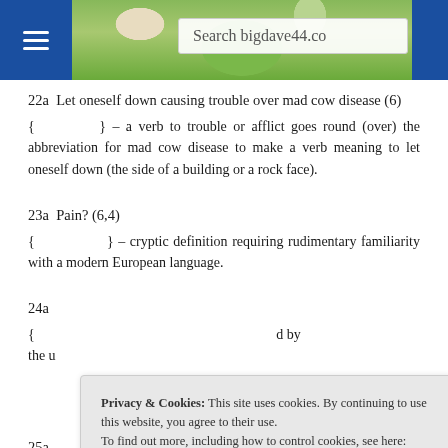Search bigdave44.co
22a  Let oneself down causing trouble over mad cow disease (6)
{ } – a verb to trouble or afflict goes round (over) the abbreviation for mad cow disease to make a verb meaning to let oneself down (the side of a building or a rock face).
23a  Pain? (6,4)
{ } – cryptic definition requiring rudimentary familiarity with a modern European language.
24a
{ } d by the u
[Figure (screenshot): Privacy & Cookies banner overlay: 'Privacy & Cookies: This site uses cookies. By continuing to use this website, you agree to their use. To find out more, including how to control cookies, see here: Cookie Policy' with a 'Close and accept' button.]
25a
{ } red-top)
26a  Dreadful, film star missing entrance — he won't be pleased (8)